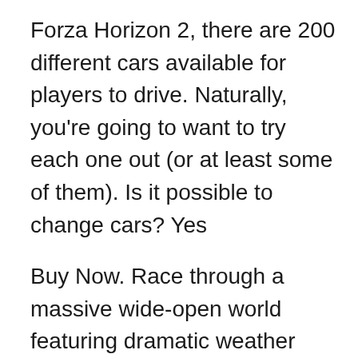Forza Horizon 2, there are 200 different cars available for players to drive. Naturally, you're going to want to try each one out (or at least some of them). Is it possible to change cars? Yes
Buy Now. Race through a massive wide-open world featuring dramatic weather and day to night cycles. Instantly connect with friends in the ultimate celebration of speed, style, and action-packed driving. Forza Horizon 4 FAQ See answers to commonly asked questions about Forza Horizon 4. Get technical help with Forza Horizon 4 If you've run into a problem in-game, the Forza Support page has a list of additional FAQs and known issues. Watch, stream, and earn in Forza Horizon 4 on Mixer